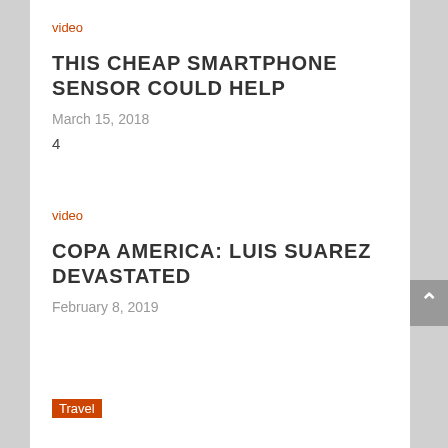video
THIS CHEAP SMARTPHONE SENSOR COULD HELP
March 15, 2018
4
video
COPA AMERICA: LUIS SUAREZ DEVASTATED
February 8, 2019
Travel